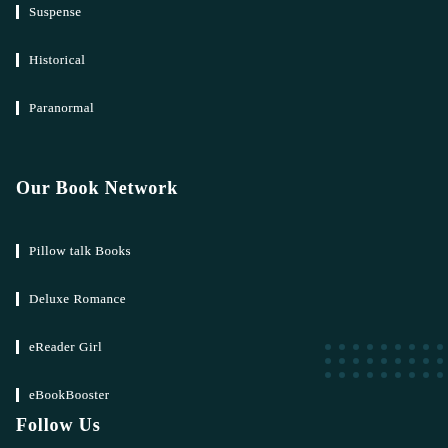Suspense
Historical
Paranormal
Our Book Network
Pillow talk Books
Deluxe Romance
eReader Girl
eBookBooster
Follow Us